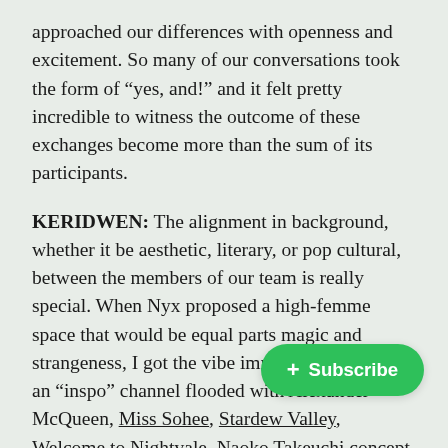approached our differences with openness and excitement. So many of our conversations took the form of “yes, and!” and it felt pretty incredible to witness the outcome of these exchanges become more than the sum of its participants.
KERIDWEN: The alignment in background, whether it be aesthetic, literary, or pop cultural, between the members of our team is really special. When Nyx proposed a high-femme space that would be equal parts magic and strangeness, I got the vibe immediately. We have an “inspo” channel flooded with Alexander McQueen, Miss Sohee, Stardew Valley, Welcome to Nightvale, Naoko Takeuchi concept art and Rihanna’s Instagram. I found we had an easy co[nversation when] it came to influences and what kind [of content brought] us joy—what kind of content made the most sense to
[Figure (other): Green rounded pill-shaped Subscribe button with a plus sign icon, overlaying text]